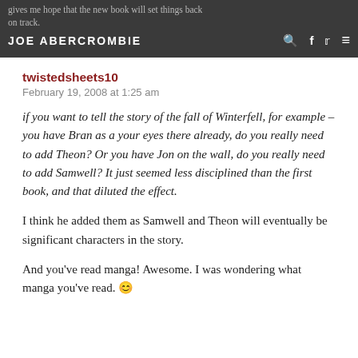gives me hope that the new book will set things back on track.
JOE ABERCROMBIE
twistedsheets10
February 19, 2008 at 1:25 am
if you want to tell the story of the fall of Winterfell, for example – you have Bran as a your eyes there already, do you really need to add Theon? Or you have Jon on the wall, do you really need to add Samwell? It just seemed less disciplined than the first book, and that diluted the effect.
I think he added them as Samwell and Theon will eventually be significant characters in the story.
And you've read manga! Awesome. I was wondering what manga you've read. 🙂